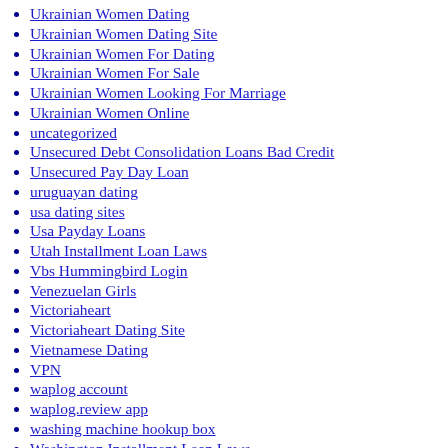Ukrainian Women Dating
Ukrainian Women Dating Site
Ukrainian Women For Dating
Ukrainian Women For Sale
Ukrainian Women Looking For Marriage
Ukrainian Women Online
uncategorized
Unsecured Debt Consolidation Loans Bad Credit
Unsecured Pay Day Loan
uruguayan dating
usa dating sites
Usa Payday Loans
Utah Installment Loan Laws
Vbs Hummingbird Login
Venezuelan Girls
Victoriaheart
Victoriaheart Dating Site
Vietnamese Dating
VPN
waplog account
waplog.review app
washing machine hookup box
Washington Installment Loan Laws
Washington Payday Loan Online
WEB Fonts